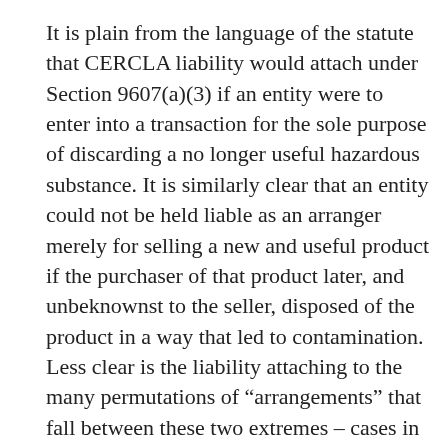It is plain from the language of the statute that CERCLA liability would attach under Section 9607(a)(3) if an entity were to enter into a transaction for the sole purpose of discarding a no longer useful hazardous substance. It is similarly clear that an entity could not be held liable as an arranger merely for selling a new and useful product if the purchaser of that product later, and unbeknownst to the seller, disposed of the product in a way that led to contamination. Less clear is the liability attaching to the many permutations of “arrangements” that fall between these two extremes – cases in which the seller has some knowledge of buyer’s planned disposal or whose motives for the “sale” of a hazardous substance are less than clear. In such cases, courts have concluded that the determination whether an entity as an arranger requires a fact-intensive